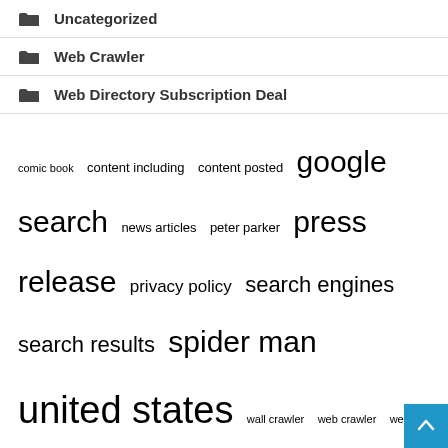Uncategorized
Web Crawler
Web Directory Subscription Deal
comic book  content including  content posted  google search  news articles  peter parker  press release  privacy policy  search engines  search results  spider man  united states  wall crawler  web crawler  web slinger
Recent Posts
Searching For a Mortgage Lender? Here's What You Need to Know Before You Begin The Search